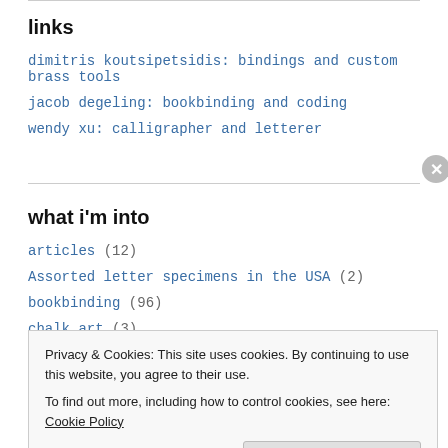links
dimitris koutsipetsidis: bindings and custom brass tools
jacob degeling: bookbinding and coding
wendy xu: calligrapher and letterer
what i'm into
articles (12)
Assorted letter specimens in the USA (2)
bookbinding (96)
chalk art (3)
Privacy & Cookies: This site uses cookies. By continuing to use this website, you agree to their use.
To find out more, including how to control cookies, see here: Cookie Policy
Close and accept